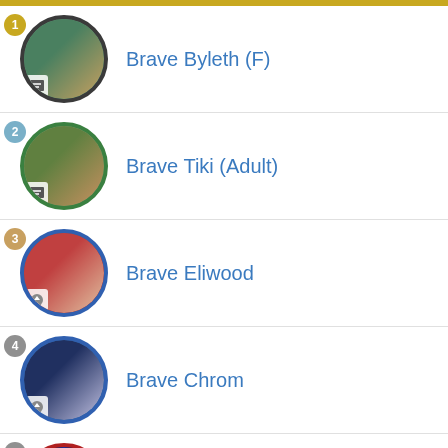1 Brave Byleth (F)
2 Brave Tiki (Adult)
3 Brave Eliwood
4 Brave Chrom
5 Brave Seliph
6 (partially visible)
Menu
Top